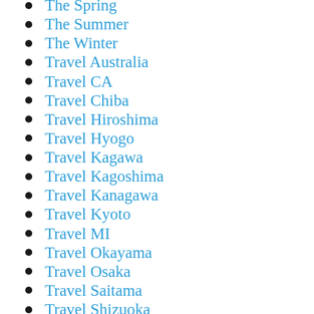The Spring
The Summer
The Winter
Travel Australia
Travel CA
Travel Chiba
Travel Hiroshima
Travel Hyogo
Travel Kagawa
Travel Kagoshima
Travel Kanagawa
Travel Kyoto
Travel MI
Travel Okayama
Travel Osaka
Travel Saitama
Travel Shizuoka